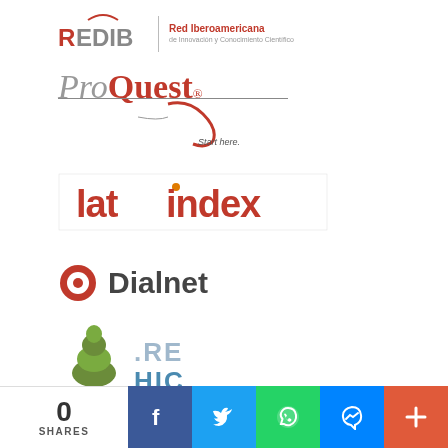[Figure (logo): REDIB - Red Iberoamericana de Innovación y Conocimiento Científico logo]
[Figure (logo): ProQuest - Start here. logo]
[Figure (logo): Latindex logo in red with orange dot on i]
[Figure (logo): Dialnet logo with red target icon]
[Figure (logo): REHIC logo with tree illustration and blue .RE HIC text]
[Figure (logo): IMBIOMED green button logo]
[Figure (infographic): Social sharing bar with 0 SHARES count, Facebook, Twitter, WhatsApp, Messenger, and plus buttons]